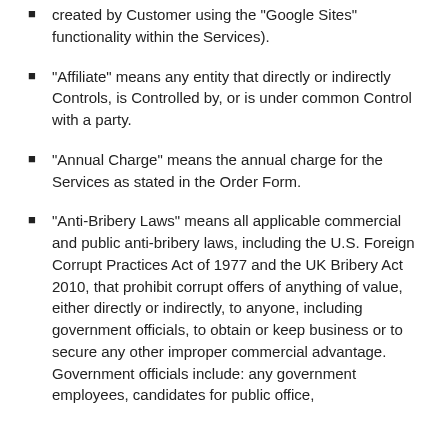created by Customer using the "Google Sites" functionality within the Services).
"Affiliate" means any entity that directly or indirectly Controls, is Controlled by, or is under common Control with a party.
"Annual Charge" means the annual charge for the Services as stated in the Order Form.
"Anti-Bribery Laws" means all applicable commercial and public anti-bribery laws, including the U.S. Foreign Corrupt Practices Act of 1977 and the UK Bribery Act 2010, that prohibit corrupt offers of anything of value, either directly or indirectly, to anyone, including government officials, to obtain or keep business or to secure any other improper commercial advantage. Government officials include: any government employees, candidates for public office,